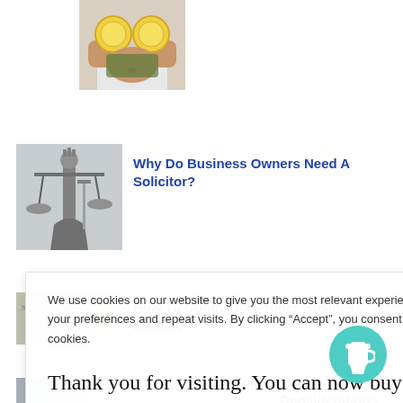[Figure (photo): Partial image of a person holding lemon slices over their eyes, cropped at top]
[Figure (photo): Lady Justice statue with scales, black and white image]
Why Do Business Owners Need A Solicitor?
[Figure (photo): Partial thumbnail related to business meeting]
How To Conduct A Proper Business Meeting
We use cookies on our website to give you the most relevant experience by remembering your preferences and repeat visits. By clicking “Accept”, you consent to the use of ALL the cookies.
Thank you for visiting. You can now buy me a coffee!
Considerations
How To Go The Extra Mile With Employee Safety in A...
[Figure (illustration): Teal/green circular coffee cup button icon]